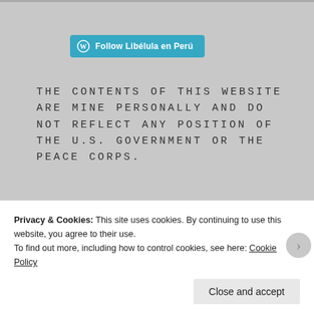[Figure (other): WordPress Follow button with cyan/teal background reading 'Follow Libélula en Perú']
THE CONTENTS OF THIS WEBSITE ARE MINE PERSONALLY AND DO NOT REFLECT ANY POSITION OF THE U.S. GOVERNMENT OR THE PEACE CORPS.
[Figure (photo): Small square author avatar photo showing a nature/woodland scene]
Woodlandrice
Privacy & Cookies: This site uses cookies. By continuing to use this website, you agree to their use.
To find out more, including how to control cookies, see here: Cookie Policy
Close and accept